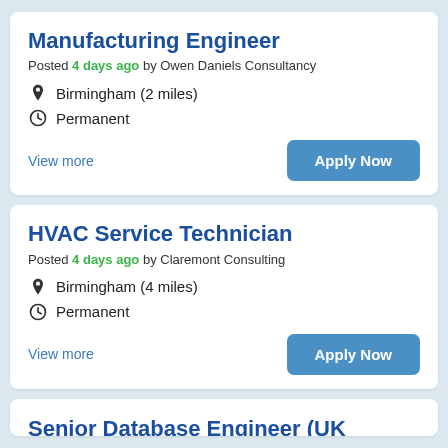Manufacturing Engineer
Posted 4 days ago by Owen Daniels Consultancy
Birmingham (2 miles)
Permanent
View more
Apply Now
HVAC Service Technician
Posted 4 days ago by Claremont Consulting
Birmingham (4 miles)
Permanent
View more
Apply Now
Senior Database Engineer (UK REMOTE)